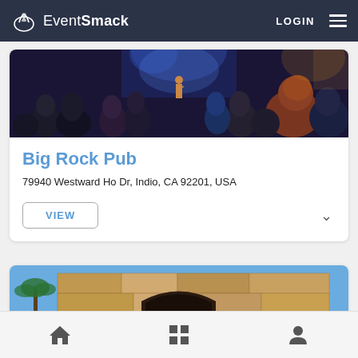EventSmack — LOGIN
[Figure (photo): Concert crowd with people watching a performer on stage with blue stage lighting]
Big Rock Pub
79940 Westward Ho Dr, Indio, CA 92201, USA
VIEW
[Figure (photo): Stone building exterior with arched entrance, palm trees, and signage visible]
Home | Grid | Profile navigation icons